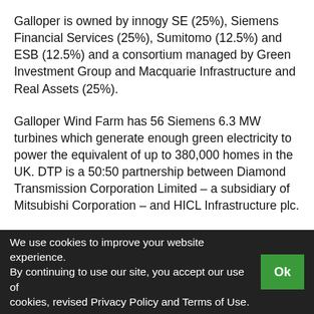Galloper is owned by innogy SE (25%), Siemens Financial Services (25%), Sumitomo (12.5%) and ESB (12.5%) and a consortium managed by Green Investment Group and Macquarie Infrastructure and Real Assets (25%).
Galloper Wind Farm has 56 Siemens 6.3 MW turbines which generate enough green electricity to power the equivalent of up to 380,000 homes in the UK. DTP is a 50:50 partnership between Diamond Transmission Corporation Limited – a subsidiary of Mitsubishi Corporation – and HICL Infrastructure plc.
WFW London Projects team partner Martin
We use cookies to improve your website experience. By continuing to use our site, you accept our use of cookies, revised Privacy Policy and Terms of Use.